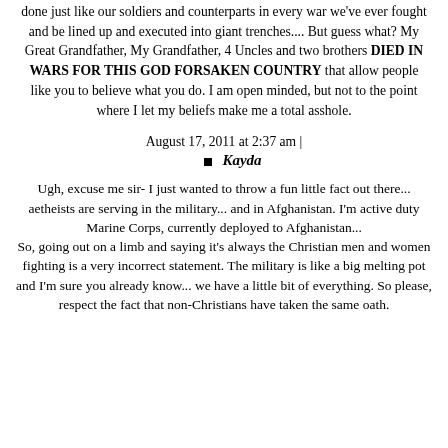done just like our soldiers and counterparts in every war we've ever fought and be lined up and executed into giant trenches.... But guess what? My Great Grandfather, My Grandfather, 4 Uncles and two brothers DIED IN WARS FOR THIS GOD FORSAKEN COUNTRY that allow people like you to believe what you do. I am open minded, but not to the point where I let my beliefs make me a total asshole.
August 17, 2011 at 2:37 am |
Kayda
Ugh, excuse me sir- I just wanted to throw a fun little fact out there... aetheists are serving in the military... and in Afghanistan. I'm active duty Marine Corps, currently deployed to Afghanistan... So, going out on a limb and saying it's always the Christian men and women fighting is a very incorrect statement. The military is like a big melting pot and I'm sure you already know... we have a little bit of everything. So please, respect the fact that non-Christians have taken the same oath.